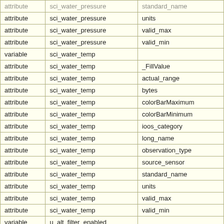| type | variable/attribute name | attribute name |
| --- | --- | --- |
| attribute | sci_water_pressure | standard_name |
| attribute | sci_water_pressure | units |
| attribute | sci_water_pressure | valid_max |
| attribute | sci_water_pressure | valid_min |
| variable | sci_water_temp |  |
| attribute | sci_water_temp | _FillValue |
| attribute | sci_water_temp | actual_range |
| attribute | sci_water_temp | bytes |
| attribute | sci_water_temp | colorBarMaximum |
| attribute | sci_water_temp | colorBarMinimum |
| attribute | sci_water_temp | ioos_category |
| attribute | sci_water_temp | long_name |
| attribute | sci_water_temp | observation_type |
| attribute | sci_water_temp | source_sensor |
| attribute | sci_water_temp | standard_name |
| attribute | sci_water_temp | units |
| attribute | sci_water_temp | valid_max |
| attribute | sci_water_temp | valid_min |
| variable | u_alt_filter_enabled |  |
| attribute | u_alt_filter_enabled | _FillValue |